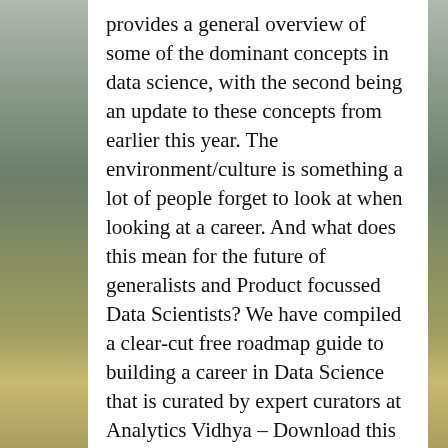provides a general overview of some of the dominant concepts in data science, with the second being an update to these concepts from earlier this year. The environment/culture is something a lot of people forget to look at when looking at a career. And what does this mean for the future of generalists and Product focussed Data Scientists? We have compiled a clear-cut free roadmap guide to building a career in Data Science that is curated by expert curators at Analytics Vidhya – Download this free Comprehensive Data Science Roadmap to start your career; Let's dive in! .Rd5g7JmL4Fdk-aZi1-U_V{transition:all .1s linear 0s}._2TMXtA984ePtHXMkOpHNQm{font-size:16px;font-weight:500;line-height:20px;margin-